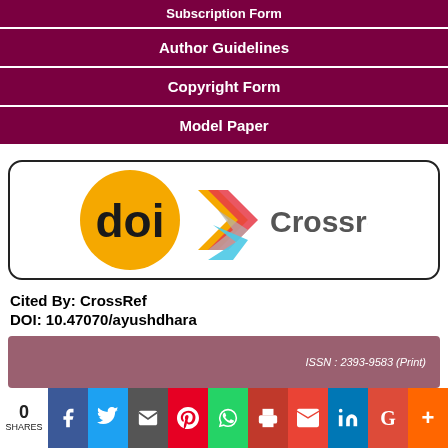Subscription Form
Author Guidelines
Copyright Form
Model Paper
[Figure (logo): DOI and Crossref logos inside a rounded rectangle border]
Cited By: CrossRef
DOI: 10.47070/ayushdhara
ISSN : 2393-9583 (Print)